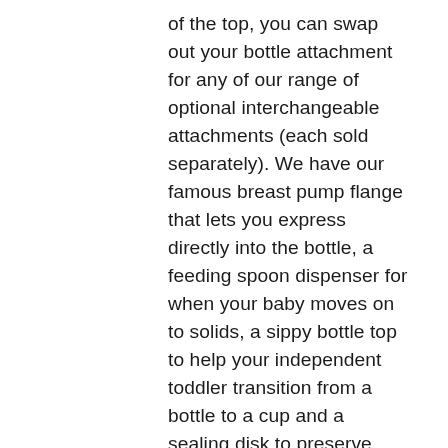of the top, you can swap out your bottle attachment for any of our range of optional interchangeable attachments (each sold separately). We have our famous breast pump flange that lets you express directly into the bottle, a feeding spoon dispenser for when your baby moves on to solids, a sippy bottle top to help your independent toddler transition from a bottle to a cup and a sealing disk to preserve any leftover food or milk after feeding. This pack contains:
1 x Silicone Breast Pump Flange
The Haakaa Silicone Breast Pump